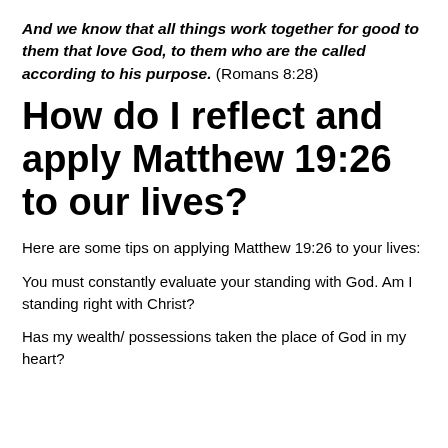And we know that all things work together for good to them that love God, to them who are the called according to his purpose. (Romans 8:28)
How do I reflect and apply Matthew 19:26 to our lives?
Here are some tips on applying Matthew 19:26 to your lives:
You must constantly evaluate your standing with God. Am I standing right with Christ?
Has my wealth/ possessions taken the place of God in my heart?